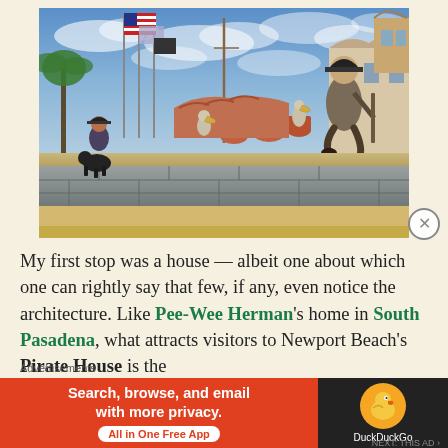[Figure (photo): Outdoor scene at Newport Beach's Pirate House. A large pirate statue stands on the right on a stone wall/platform. An American flag and other flags fly on poles at left. Pelicans and terracotta pots visible. A person in pirate costume stands at lower left. Cloudy blue sky background.]
My first stop was a house — albeit one about which one can rightly say that few, if any, even notice the architecture. Like Pee-Wee Herman's home in South Pasadena, what attracts visitors to Newport Beach's Pirate House is the
Advertisements
[Figure (screenshot): DuckDuckGo advertisement banner. Orange/red left panel with white text: 'Search, browse, and email with more privacy.' with a white pill button 'All in One Free App'. Black right panel with DuckDuckGo duck logo in orange circle and 'DuckDuckGo' white text.]